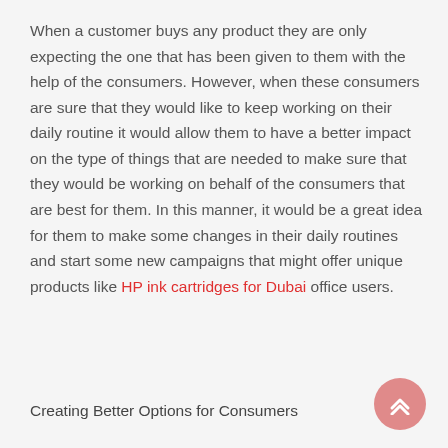When a customer buys any product they are only expecting the one that has been given to them with the help of the consumers. However, when these consumers are sure that they would like to keep working on their daily routine it would allow them to have a better impact on the type of things that are needed to make sure that they would be working on behalf of the consumers that are best for them. In this manner, it would be a great idea for them to make some changes in their daily routines and start some new campaigns that might offer unique products like HP ink cartridges for Dubai office users.
Creating Better Options for Consumers